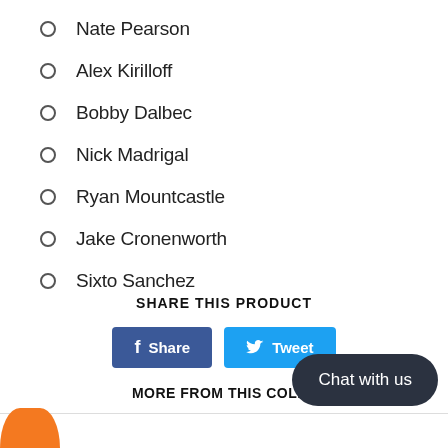Nate Pearson
Alex Kirilloff
Bobby Dalbec
Nick Madrigal
Ryan Mountcastle
Jake Cronenworth
Sixto Sanchez
SHARE THIS PRODUCT
[Figure (other): Facebook Share button and Twitter Tweet button]
MORE FROM THIS COLLE
[Figure (other): Chat with us button overlay]